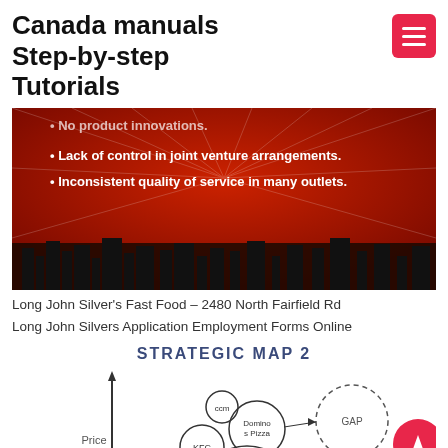Canada manuals Step-by-step Tutorials
[Figure (screenshot): Red radiant background slide with bullet points: 'No product innovations.', 'Lack of control in joint venture arrangements.', 'Inconsistent quality of service in many outlets.' with city silhouette at bottom.]
Long John Silver's Fast Food – 2480 North Fairfield Rd
Long John Silvers Application Employment Forms Online
[Figure (other): Strategic Map 2 diagram with circles labeled KFC, Domino s Pizza, ccm, and GAP (dashed), on axes with Price label.]